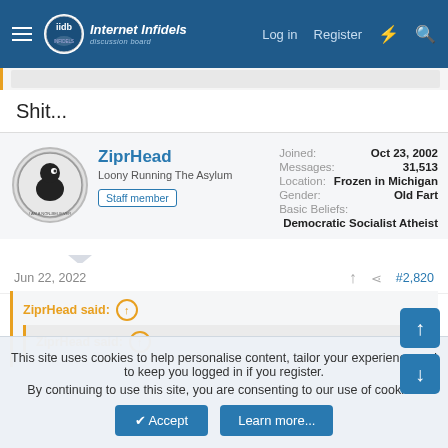Internet Infidels Discussion Board — Log in  Register
Shit...
| Field | Value |
| --- | --- |
| Joined: | Oct 23, 2002 |
| Messages: | 31,513 |
| Location: | Frozen in Michigan |
| Gender: | Old Fart |
| Basic Beliefs: | Democratic Socialist Atheist |
ZiprHead
Loony Running The Asylum
Staff member
Jun 22, 2022   #2,820
ZiprHead said: ↑
ZiprHead said: ↑
This site uses cookies to help personalise content, tailor your experience and to keep you logged in if you register.
By continuing to use this site, you are consenting to our use of cookies.